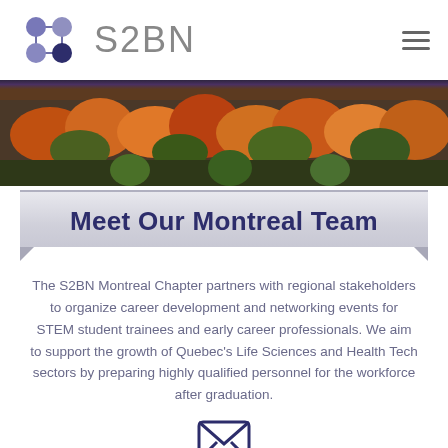[Figure (logo): S2BN logo with 4 purple circles arranged in a 2x2 grid connected by lines, with the text S2BN in grey, and a hamburger menu icon on the right]
[Figure (photo): Aerial view of a forest in autumn with orange, red, yellow and green foliage, with a dark purple/blue strip at the top]
Meet Our Montreal Team
The S2BN Montreal Chapter partners with regional stakeholders to organize career development and networking events for STEM student trainees and early career professionals. We aim to support the growth of Quebec's Life Sciences and Health Tech sectors by preparing highly qualified personnel for the workforce after graduation.
[Figure (illustration): Purple envelope/email icon]